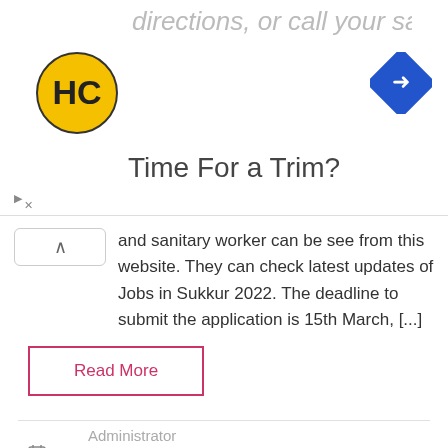[Figure (screenshot): Advertisement banner with HC logo (yellow circle with HC text), navigation arrow icon (blue diamond), partial text 'directions, or call your salon!' and 'Time For a Trim?']
and sanitary worker can be see from this website. They can check latest updates of Jobs in Sukkur 2022. The deadline to submit the application is 15th March, [...]
Read More
Administrator
March 2, 2022
Driver Jobs in Pakistan, Jobs, Jobs in Pakistan Newspapers, Kamber Shahdadkot Jobs, Kawish Newspaper Jobs Today, Middle Jobs, Naib Qasid Jobs In Pakistan, Primary Jobs, Sindh Jobs, Sweeper Jobs in Pakistan